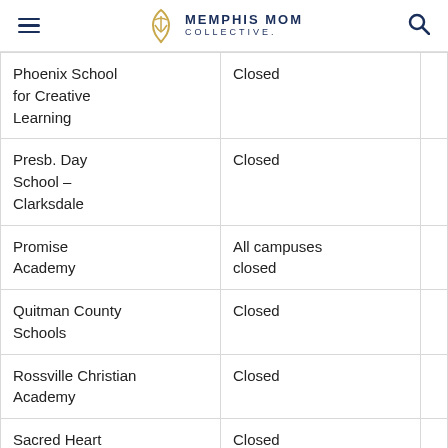Memphis Mom Collective
| School | Status |  |
| --- | --- | --- |
| Phoenix School for Creative Learning | Closed |  |
| Presb. Day School – Clarksdale | Closed |  |
| Promise Academy | All campuses closed |  |
| Quitman County Schools | Closed |  |
| Rossville Christian Academy | Closed |  |
| Sacred Heart School – Desoto | Closed |  |
| Senatobia | Closed |  |